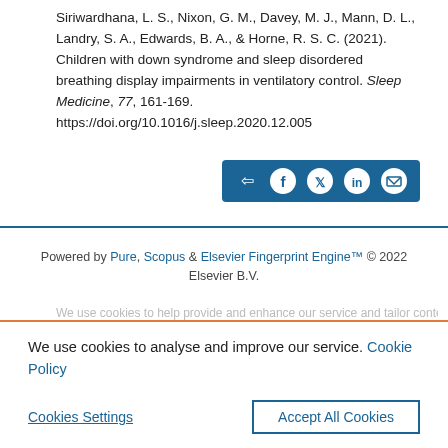Siriwardhana, L. S., Nixon, G. M., Davey, M. J., Mann, D. L., Landry, S. A., Edwards, B. A., & Horne, R. S. C. (2021). Children with down syndrome and sleep disordered breathing display impairments in ventilatory control. Sleep Medicine, 77, 161-169. https://doi.org/10.1016/j.sleep.2020.12.005
[Figure (other): Social share button bar with icons for share, Facebook, Twitter, LinkedIn, and email on a dark blue background]
Powered by Pure, Scopus & Elsevier Fingerprint Engine™ © 2022 Elsevier B.V.
We use cookies to analyse and improve our service. Cookie Policy
Cookies Settings    Accept All Cookies